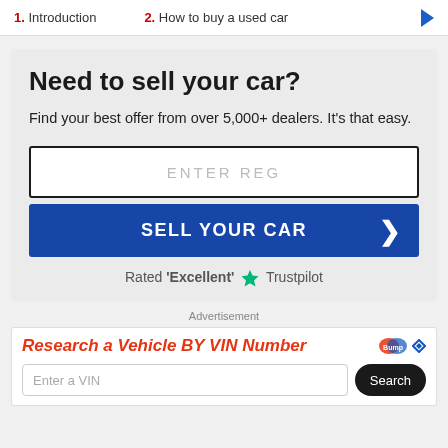1. Introduction   2. How to buy a used car
Need to sell your car?
Find your best offer from over 5,000+ dealers. It's that easy.
ENTER REG
SELL YOUR CAR
Rated 'Excellent' ★ Trustpilot
Advertisement
Research a Vehicle BY VIN Number
Enter a VIN
Search